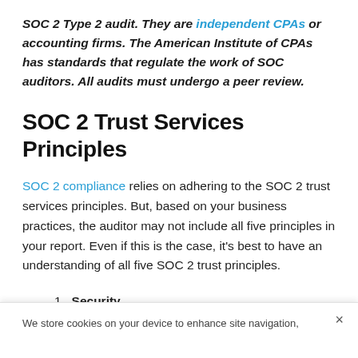SOC 2 Type 2 audit. They are independent CPAs or accounting firms. The American Institute of CPAs has standards that regulate the work of SOC auditors. All audits must undergo a peer review.
SOC 2 Trust Services Principles
SOC 2 compliance relies on adhering to the SOC 2 trust services principles. But, based on your business practices, the auditor may not include all five principles in your report. Even if this is the case, it's best to have an understanding of all five SOC 2 trust principles.
1. Security
We store cookies on your device to enhance site navigation,